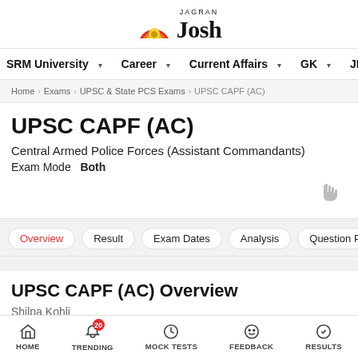[Figure (logo): Jagran Josh logo with stylized sunrise/rainbow icon and bold serif 'Josh' text with 'JAGRAN' above]
SRM University  Career  Current Affairs  GK  JEE  MBA
Home  Exams  UPSC & State PCS Exams  UPSC CAPF (AC)
UPSC CAPF (AC)
Central Armed Police Forces (Assistant Commandants)
Exam Mode  Both
Overview
Result
Exam Dates
Analysis
Question Pa...
UPSC CAPF (AC) Overview
Shilpa Kohli